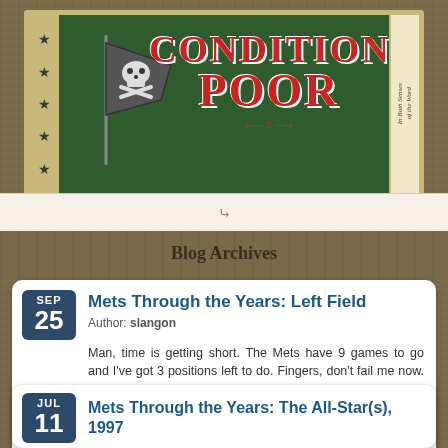[Figure (illustration): Blog header banner with dark green background, pirate jolly roger flag, red decorative text reading 'CONDITION: POOR', star border on left, and side ticket reading 'In Both Senses of the Word']
»
Blog Archives
Mets Through the Years: Left Field
Author: slangon
Man, time is getting short. The Mets have 9 games to go and I've got 3 positions left to do. Fingers, don't fail me now. In honor of the 50th Anniversary of the New York Mets, I've been looking at the primary players at each position throughout the teams history. We've already looked at the […]
READ THIS POST
Mets Through the Years: The All-Star(s), 1997